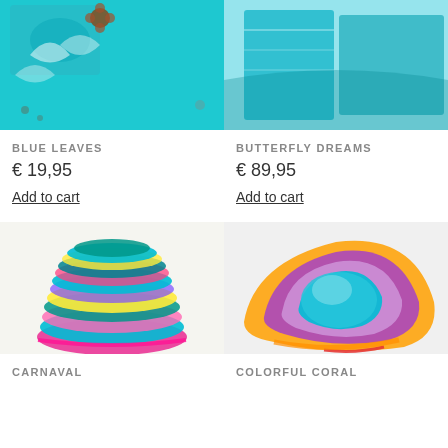[Figure (photo): Blue leaves art journal or fabric item in turquoise/teal color with white leaf prints and decorative elements]
[Figure (photo): Butterfly Dreams item in turquoise/teal tones, appears to be a book or fabric art piece]
BLUE LEAVES
€ 19,95
Add to cart
BUTTERFLY DREAMS
€ 89,95
Add to cart
[Figure (photo): Carnaval colorful yarn skein in teal, pink, yellow, purple coiled in a stack]
[Figure (photo): Colorful Coral multicolored wool batt in purple, teal, orange, red rainbow colors]
CARNAVAL
COLORFUL CORAL